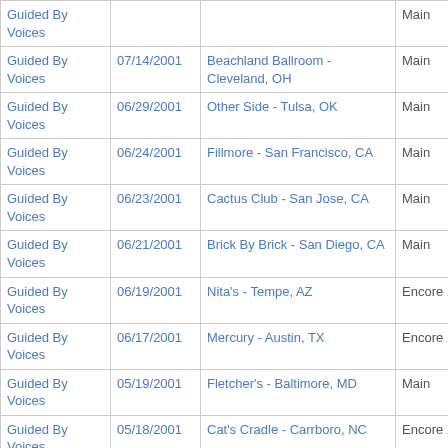| Artist | Date | Venue | Set |  |  |
| --- | --- | --- | --- | --- | --- |
| Guided By Voices |  |  | Main |  |  |
| Guided By Voices | 07/14/2001 | Beachland Ballroom - Cleveland, OH | Main |  |  |
| Guided By Voices | 06/29/2001 | Other Side - Tulsa, OK | Main |  |  |
| Guided By Voices | 06/24/2001 | Fillmore - San Francisco, CA | Main |  |  |
| Guided By Voices | 06/23/2001 | Cactus Club - San Jose, CA | Main |  |  |
| Guided By Voices | 06/21/2001 | Brick By Brick - San Diego, CA | Main |  |  |
| Guided By Voices | 06/19/2001 | Nita's - Tempe, AZ | Encore 1 |  |  |
| Guided By Voices | 06/17/2001 | Mercury - Austin, TX | Encore 1 |  |  |
| Guided By Voices | 05/19/2001 | Fletcher's - Baltimore, MD | Main |  |  |
| Guided By Voices | 05/18/2001 | Cat's Cradle - Carrboro, NC | Encore 1 |  |  |
| Guided By Voices | 05/12/2001 | Vic Theatre - Chicago, IL | Main |  |  |
| Guided By Voices | 04/27/2001 | Armory High - Syracuse, NY | Main |  |  |
| Guided By Voices | 04/14/2001 | Stubb's - Austin, TX | Main |  |  |
| Guided By Voices | 04/13/2001 | Gypsy Tea Room - Dallas, TX | Encore 2 |  |  |
| Guided By Voices | 03/30/2001 | Showbox - Seattle, WA | Main |  |  |
| Guided By Voices | 03/27/2001 | Bluebird Theater - Denver, CO | Encore 1 |  |  |